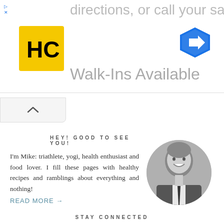directions, or call your salon!
[Figure (logo): HC logo - yellow square with black HC letters]
Walk-Ins Available
[Figure (other): Collapse/chevron up button]
HEY! GOOD TO SEE YOU!
I'm Mike: triathlete, yogi, health enthusiast and food lover. I fill these pages with healthy recipes and ramblings about everything and nothing!
READ MORE →
[Figure (photo): Black and white circular photo of a smiling man in a suit and tie]
STAY CONNECTED